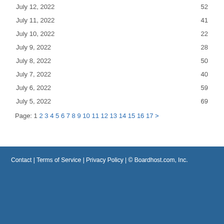| Date | Count |
| --- | --- |
| July 12, 2022 | 52 |
| July 11, 2022 | 41 |
| July 10, 2022 | 22 |
| July 9, 2022 | 28 |
| July 8, 2022 | 50 |
| July 7, 2022 | 40 |
| July 6, 2022 | 59 |
| July 5, 2022 | 69 |
Page: 1 2 3 4 5 6 7 8 9 10 11 12 13 14 15 16 17 >
Contact | Terms of Service | Privacy Policy | © Boardhost.com, Inc.